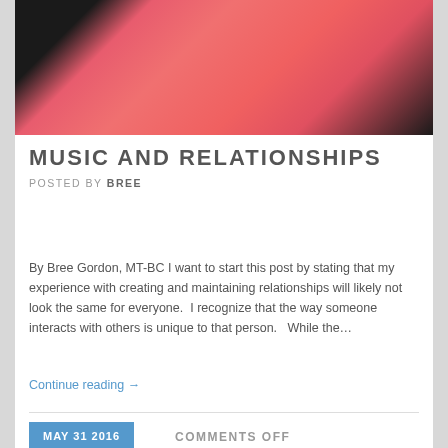[Figure (photo): Photo of a person wearing a pink/coral sleeveless top against a dark background, cropped to show torso only]
MUSIC AND RELATIONSHIPS
POSTED BY BREE
By Bree Gordon, MT-BC I want to start this post by stating that my experience with creating and maintaining relationships will likely not look the same for everyone.  I recognize that the way someone interacts with others is unique to that person.   While the…
Continue reading →
MAY 31 2016   COMMENTS OFF